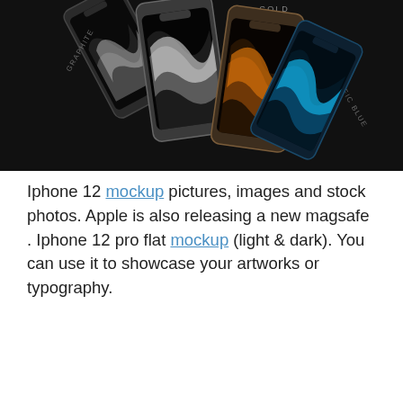[Figure (photo): Four iPhone 12 Pro mockup devices fanned out against a dark background, labeled GRAPHITE, SILVER, GOLD, and PACIFIC BLUE, each showing colorful fluid wallpapers.]
Iphone 12 mockup pictures, images and stock photos. Apple is also releasing a new magsafe . Iphone 12 pro flat mockup (light & dark). You can use it to showcase your artworks or typography.